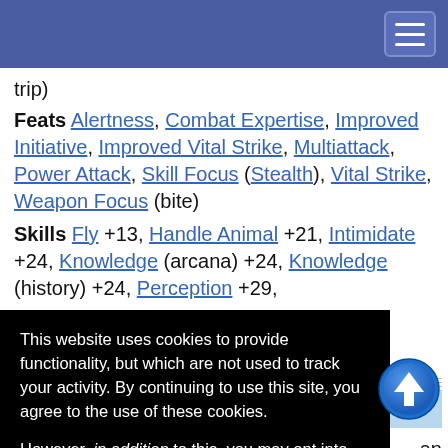trip)
Feats Alertness, Combat Expertise, Improved Initiative, Improved Vital Strike, Multiattack, Power Attack, Skill Focus (Stealth), Vital Strike, Weapon Focus (bite)
Skills Fly +13, Handle Animal +21, Intimidate +24, Knowledge (arcana) +24, Knowledge (history) +24, Perception +29,
This website uses cookies to provide functionality, but which are not used to track your activity. By continuing to use this site, you agree to the use of these cookies.

However, in addition to this, you may opt into your activity being tracked in order to help us improve our service.

For more information, please click here
an
An
ancient dragon's damage increases to